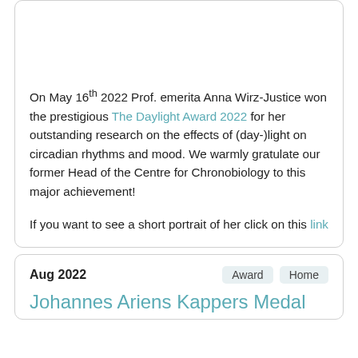On May 16th 2022 Prof. emerita Anna Wirz-Justice won the prestigious The Daylight Award 2022 for her outstanding research on the effects of (day-)light on circadian rhythms and mood. We warmly gratulate our former Head of the Centre for Chronobiology to this major achievement!
If you want to see a short portrait of her click on this link
Aug 2022
Johannes Ariens Kappers Medal